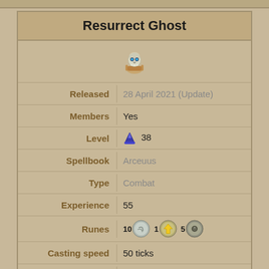Resurrect Ghost
[Figure (illustration): Resurrect Ghost spell icon - a glowing blue skull with hands]
| Field | Value |
| --- | --- |
| Released | 28 April 2021 (Update) |
| Members | Yes |
| Level | 38 |
| Spellbook | Arceuus |
| Type | Combat |
| Experience | 55 |
| Runes | 10 Air rune, 1 Soul rune, 5 Nature rune |
| Casting speed | 50 ticks |
| Quest | A Kingdom Divided |
| Description | Unknown (edit) |